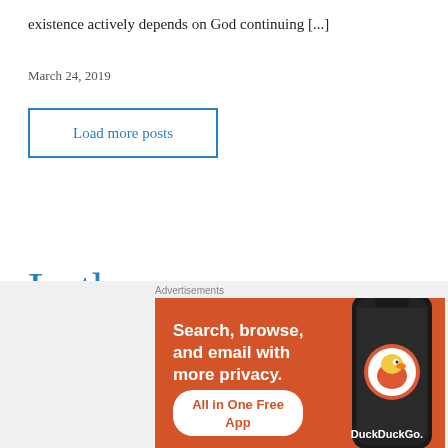existence actively depends on God continuing [...]
March 24, 2019
Load more posts
Luther
(partial text line cut off)
[Figure (other): DuckDuckGo advertisement banner: 'Search, browse, and email with more privacy. All in One Free App' with phone image and DuckDuckGo logo]